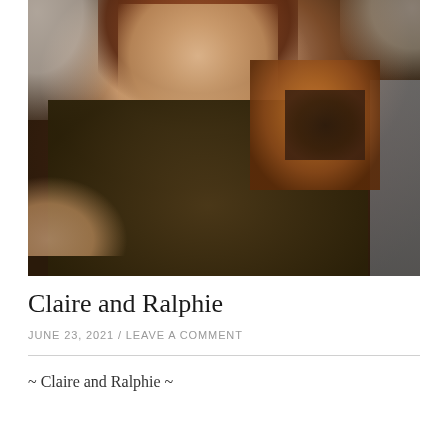[Figure (photo): A smiling woman with reddish-brown hair wearing a dark olive/brown knit sweater, holding a small Brussels Griffon puppy with a dark face and tan/rust-colored fur. She is seated on a gray sofa with a white textured background visible. Bright sunlight illuminates the scene.]
Claire and Ralphie
JUNE 23, 2021 / LEAVE A COMMENT
~ Claire and Ralphie ~